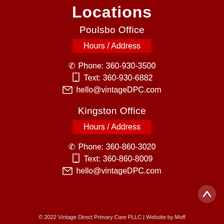Locations
Poulsbo Office
Hours /  Address
☎ Phone: 360-930-3500
🕱 Text: 360-930-6882
✉ hello@vintageDPC.com
Kingston Office
Hours /  Address
☎ Phone: 360-860-3020
🕱 Text: 360-860-8009
✉ hello@vintageDPC.com
© 2022 Vintage Direct Primary Care PLLC | Website by Moff